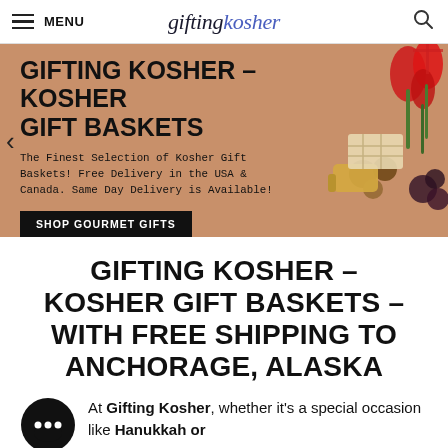MENU | giftingkosher
[Figure (photo): Hero banner with tan/terracotta background showing text overlay and gift items with red tulips and kosher treats on the right side. Includes a left arrow navigation control and a 'SHOP GOURMET GIFTS' button.]
GIFTING KOSHER – KOSHER GIFT BASKETS – WITH FREE SHIPPING TO ANCHORAGE, ALASKA
At Gifting Kosher, whether it's a special occasion like Hanukkah or